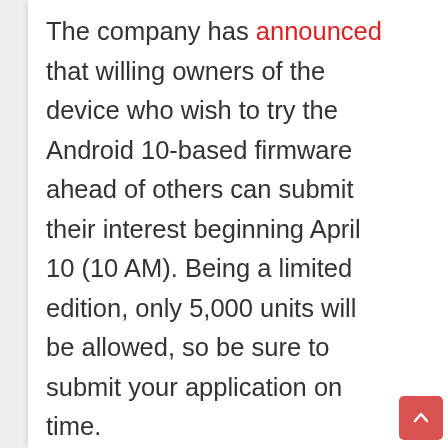The company has announced that willing owners of the device who wish to try the Android 10-based firmware ahead of others can submit their interest beginning April 10 (10 AM). Being a limited edition, only 5,000 units will be allowed, so be sure to submit your application on time.
[Figure (infographic): Like button (heart icon, red circle), count label '1', and share button (white circle with share icon)]
[Figure (infographic): Scroll-to-top button (red/pink rounded square with upward chevron)]